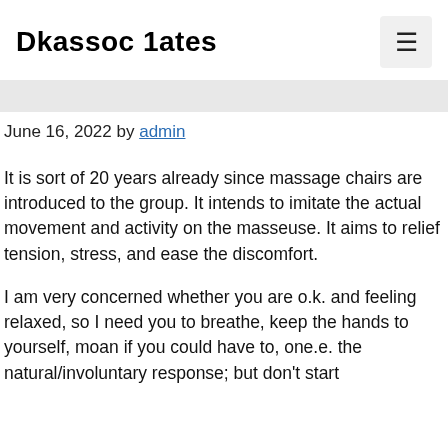Dkassoc 1ates
June 16, 2022 by admin
It is sort of 20 years already since massage chairs are introduced to the group. It intends to imitate the actual movement and activity on the masseuse. It aims to relief tension, stress, and ease the discomfort.
I am very concerned whether you are o.k. and feeling relaxed, so I need you to breathe, keep the hands to yourself, moan if you could have to, one.e. the natural/involuntary response; but don't start